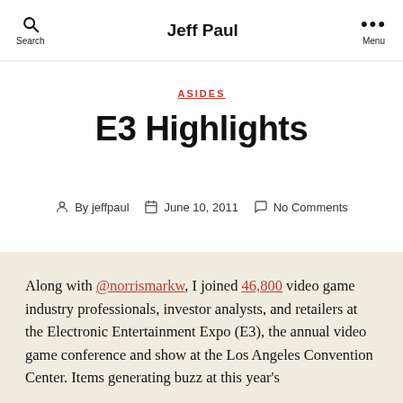Jeff Paul
ASIDES
E3 Highlights
By jeffpaul   June 10, 2011   No Comments
Along with @norrismarkw, I joined 46,800 video game industry professionals, investor analysts, and retailers at the Electronic Entertainment Expo (E3), the annual video game conference and show at the Los Angeles Convention Center. Items generating buzz at this year's